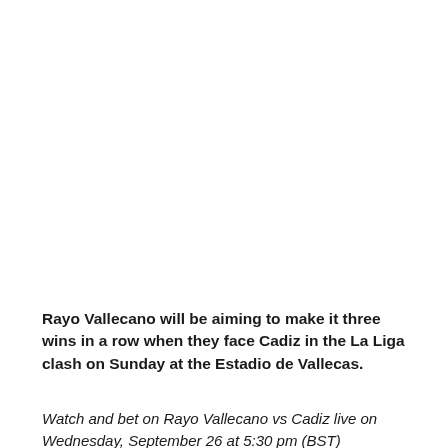Rayo Vallecano will be aiming to make it three wins in a row when they face Cadiz in the La Liga clash on Sunday at the Estadio de Vallecas.
Watch and bet on Rayo Vallecano vs Cadiz live on Wednesday, September 26 at 5:30 pm (BST)